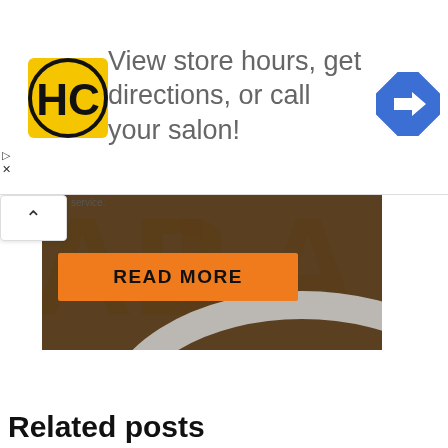[Figure (screenshot): Advertisement banner: HC (Hair Club) logo in yellow square on left, text 'View store hours, get directions, or call your salon!' in grey, blue diamond map/navigation icon on right. Small play and close controls on left side.]
[Figure (screenshot): Partial article image showing dark brown background with large embossed letters (AB, LA visible), a curved light-colored edge (appears to be a wheel or disc), and an orange 'READ MORE' button overlaid. A scroll-up chevron button and 'service.' text appear at top-left of this section.]
Related posts